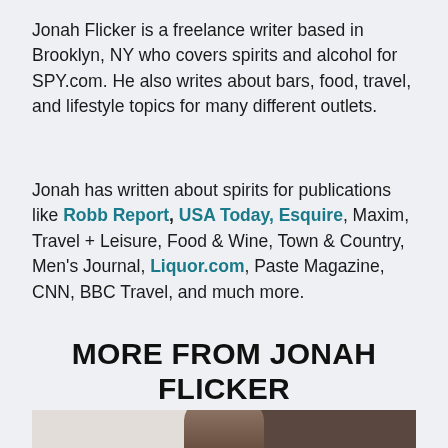Jonah Flicker is a freelance writer based in Brooklyn, NY who covers spirits and alcohol for SPY.com. He also writes about bars, food, travel, and lifestyle topics for many different outlets.
Jonah has written about spirits for publications like Robb Report, USA Today, Esquire, Maxim, Travel + Leisure, Food & Wine, Town & Country, Men's Journal, Liquor.com, Paste Magazine, CNN, BBC Travel, and much more.
MORE FROM JONAH FLICKER
[Figure (photo): Partial photo strip showing the bottom portion of an image, cropped at the page edge.]